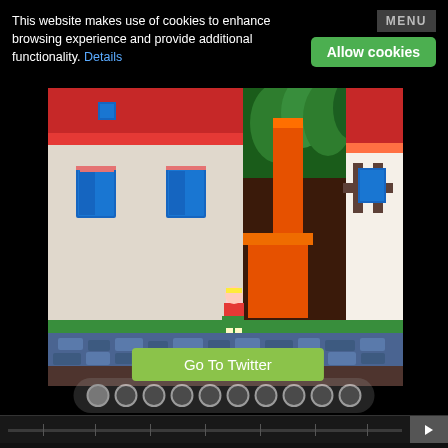This website makes use of cookies to enhance browsing experience and provide additional functionality. Details
[Figure (screenshot): Cookie consent banner with Allow cookies button and MENU button on dark background]
[Figure (screenshot): Retro video game screenshot showing a village scene with red-roofed buildings, trees, and a character walking on a cobblestone path]
Go To Twitter
[Figure (infographic): Dot navigation indicator with 10 dots, first dot active/darker]
[Figure (screenshot): Media player controls: play button, timestamps 00:00 and 00:00, shuffle, list, share icons, back/skip buttons, BUY TRACK button]